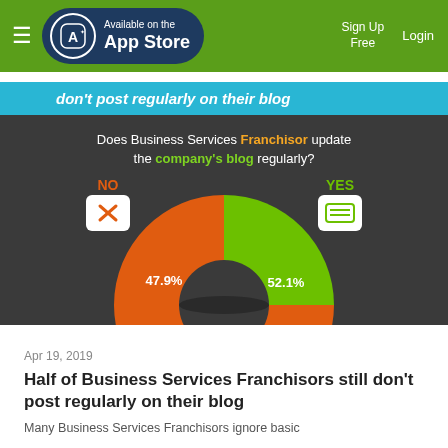Available on the App Store | Sign Up Free | Login
[Figure (infographic): Infographic showing 'does Business Services Franchisor update the company's blog regularly?' with a donut chart: NO 47.9% (orange) and YES 52.1% (green)]
Apr 19, 2019
Half of Business Services Franchisors still don't post regularly on their blog
Many Business Services Franchisors ignore basic